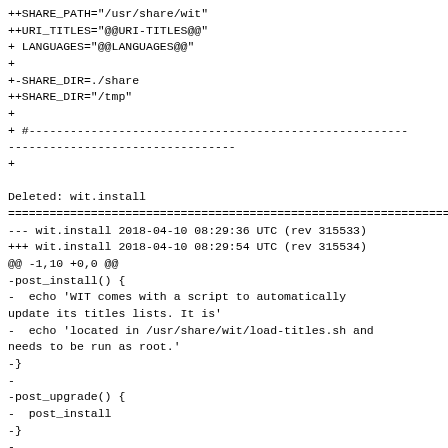++SHARE_PATH="/usr/share/wit"
++URI_TITLES="@@URI-TITLES@@"
+ LANGUAGES="@@LANGUAGES@@"
+
+-SHARE_DIR=./share
++SHARE_DIR="/tmp"
+
+ #-----------------------------------------------------------------------
+

Deleted: wit.install
========================================================================
--- wit.install 2018-04-10 08:29:36 UTC (rev 315533)
+++ wit.install 2018-04-10 08:29:54 UTC (rev 315534)
@@ -1,10 +0,0 @@
-post_install() {
-  echo 'WIT comes with a script to automatically
update its titles lists. It is'
-  echo 'located in /usr/share/wit/load-titles.sh and
needs to be run as root.'
-}
-
-post_upgrade() {
-  post_install
-}
-
-# vim: ts=2 sw=2 et:

Copied: wit/repos/community-x86_64/wit.install (from